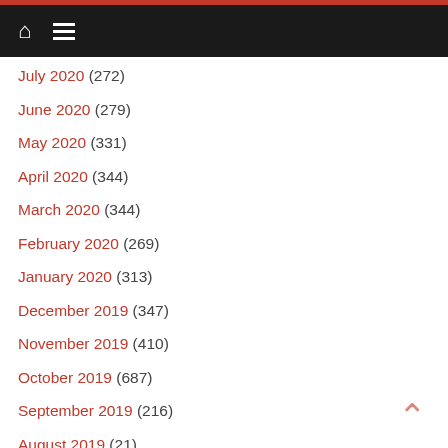Navigation bar with home and menu icons
July 2020 (272)
June 2020 (279)
May 2020 (331)
April 2020 (344)
March 2020 (344)
February 2020 (269)
January 2020 (313)
December 2019 (347)
November 2019 (410)
October 2019 (687)
September 2019 (216)
August 2019 (21)
July 2019 (140)